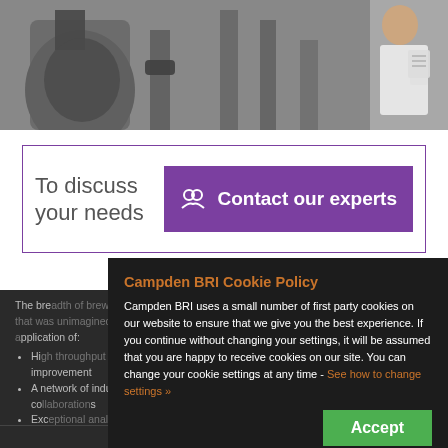[Figure (photo): Industrial kitchen/food processing equipment with stainless steel machinery and a person in white lab coat writing on clipboard]
To discuss your needs
Contact our experts
The breadth of brewing and distilling has expanded in recent years in ways that could not have been imagined. Campden BRI supports a vast range of companies and their application of:
High throughput / omics technologies delivering a capable genomics sensing improvement
A network of industry contacts that enables access to facilitate excellent projects and collaborations
Exceptional analytical and research capabilities that
Campden BRI Cookie Policy
Campden BRI uses a small number of first party cookies on our website to ensure that we give you the best experience. If you continue without changing your settings, it will be assumed that you are happy to receive cookies on our site. You can change your cookie settings at any time - See how to change settings »
Accept
Contact an expert